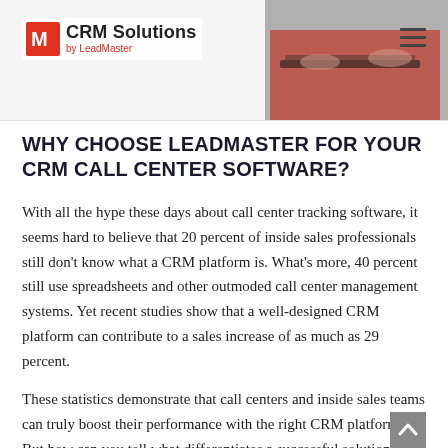CRM Solutions by LeadMaster
WHY CHOOSE LEADMASTER FOR YOUR CRM CALL CENTER SOFTWARE?
With all the hype these days about call center tracking software, it seems hard to believe that 20 percent of inside sales professionals still don't know what a CRM platform is. What's more, 40 percent still use spreadsheets and other outmoded call center management systems. Yet recent studies show that a well-designed CRM platform can contribute to a sales increase of as much as 29 percent.
These statistics demonstrate that call centers and inside sales teams can truly boost their performance with the right CRM platform. But how can you tell what differentiates a successful solution from a total dud? The